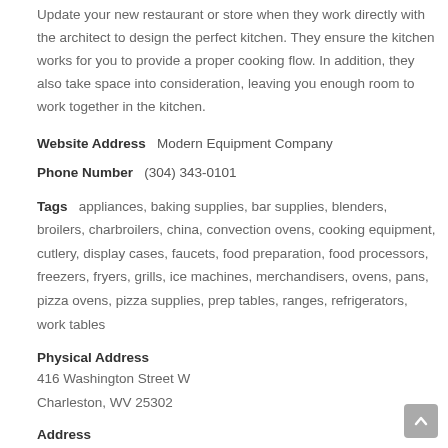Update your new restaurant or store when they work directly with the architect to design the perfect kitchen. They ensure the kitchen works for you to provide a proper cooking flow. In addition, they also take space into consideration, leaving you enough room to work together in the kitchen.
Website Address   Modern Equipment Company
Phone Number   (304) 343-0101
Tags   appliances, baking supplies, bar supplies, blenders, broilers, charbroilers, china, convection ovens, cooking equipment, cutlery, display cases, faucets, food preparation, food processors, freezers, fryers, grills, ice machines, merchandisers, ovens, pans, pizza ovens, pizza supplies, prep tables, ranges, refrigerators, work tables
Physical Address
416 Washington Street W
Charleston, WV 25302
Address